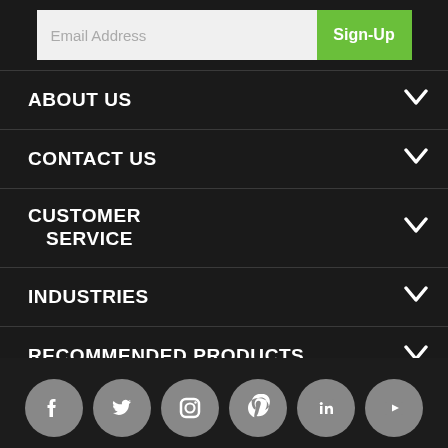[Figure (screenshot): Email signup bar with text input and green Sign-Up button]
ABOUT US
CONTACT US
CUSTOMER SERVICE
INDUSTRIES
RECOMMENDED PRODUCTS
[Figure (infographic): Social media icons row: Facebook, Twitter, Instagram, Pinterest, LinkedIn, YouTube]